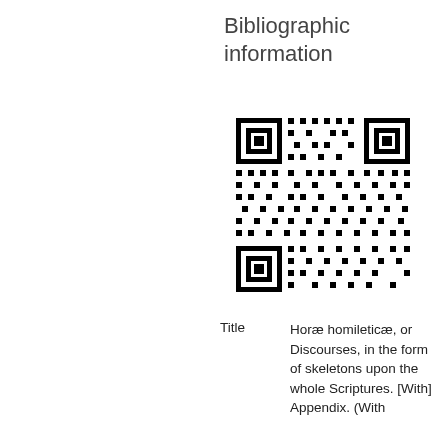Bibliographic information
[Figure (other): QR code for bibliographic information]
| Title | Horæ homileticæ, or Discourses, in the form of skeletons upon the whole Scriptures. [With] Appendix. (With |